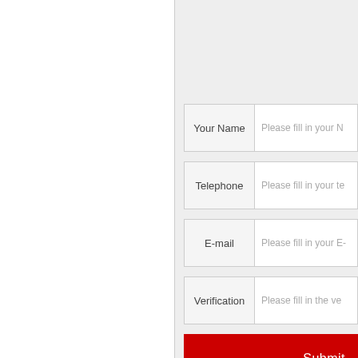[Figure (screenshot): Web contact form with fields for Your Name, Telephone, E-mail, Verification, and a red Submit button. The form is partially visible on the right half of the page, with a white left panel separated by a vertical line.]
Your Name
Please fill in your N
Telephone
Please fill in your te
E-mail
Please fill in your E-
Verification
Please fill in the ve
Submit